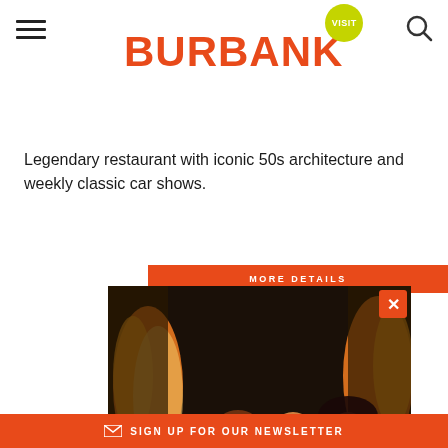[Figure (logo): Visit Burbank logo with orange BURBANK text and yellow-green VISIT bubble]
Legendary restaurant with iconic 50s architecture and weekly classic car shows.
[Figure (photo): Popup card showing people on a theme park ride with flames in background, overlaid on a MORE DETAILS orange button. Contains close X button.]
HOTEL & TICKET PACKAGE
Universal Studios Hollywood
LEARN MORE
SIGN UP FOR OUR NEWSLETTER